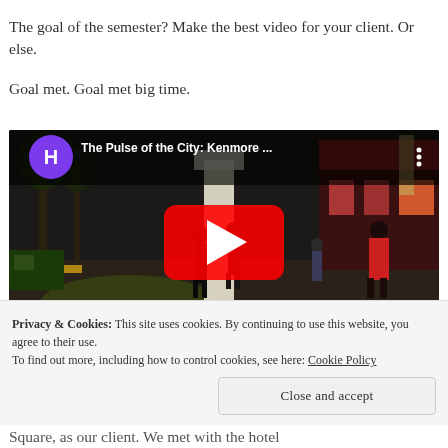The goal of the semester? Make the best video for your client. Or else.
Goal met. Goal met big time.
[Figure (screenshot): YouTube video embed showing 'The Pulse of the City: Kenmore ...' with a purple H avatar icon, three-dot menu, and a large red YouTube play button over a dark nighttime street scene with people walking on a lit city sidewalk.]
Privacy & Cookies: This site uses cookies. By continuing to use this website, you agree to their use.
To find out more, including how to control cookies, see here: Cookie Policy
Square, as our client. We met with the hotel